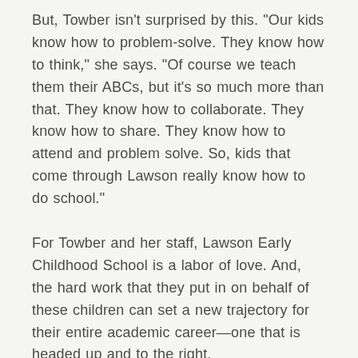But, Towber isn't surprised by this. "Our kids know how to problem-solve. They know how to think," she says. "Of course we teach them their ABCs, but it's so much more than that. They know how to collaborate. They know how to share. They know how to attend and problem solve. So, kids that come through Lawson really know how to do school."
For Towber and her staff, Lawson Early Childhood School is a labor of love. And, the hard work that they put in on behalf of these children can set a new trajectory for their entire academic career—one that is headed up and to the right.